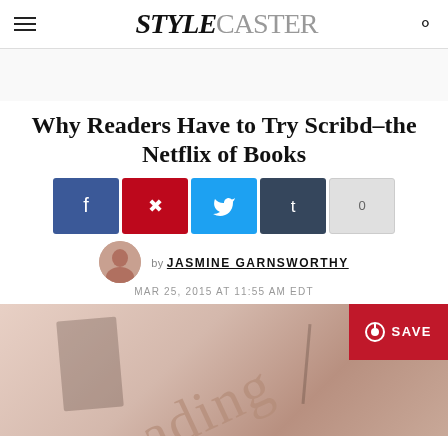STYLECASTER
Why Readers Have to Try Scribd–the Netflix of Books
[Figure (infographic): Social sharing buttons: Facebook, Pinterest, Twitter, Tumblr, and comment count (0)]
[Figure (photo): Author avatar photo of Jasmine Garnsworthy]
by JASMINE GARNSWORTHY
MAR 25, 2015 AT 11:55 AM EDT
[Figure (photo): Photo of a book or reading device with the word 'reading' visible, with a Pinterest Save button overlay in red]